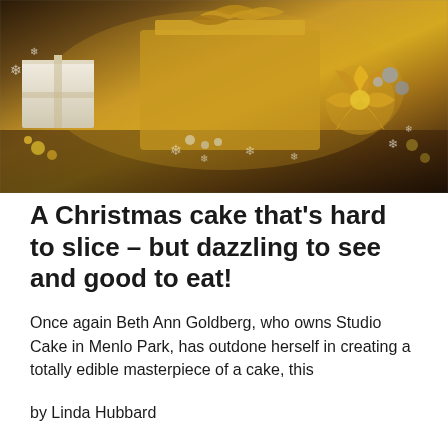[Figure (photo): Elaborate Christmas cake decorated with gold and white fondant gift boxes, snowflake decorations, floral sugar work, and gold/silver ornament balls arranged on a dark wooden surface]
A Christmas cake that's hard to slice – but dazzling to see and good to eat!
Once again Beth Ann Goldberg, who owns Studio Cake in Menlo Park, has outdone herself in creating a totally edible masterpiece of a cake, this
by Linda Hubbard